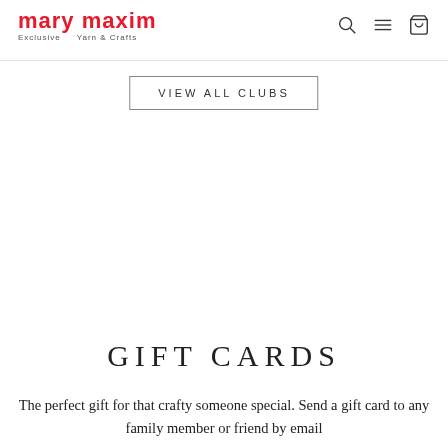mary maxim Exclusive Yarn & Crafts
VIEW ALL CLUBS
GIFT CARDS
The perfect gift for that crafty someone special. Send a gift card to any family member or friend by email